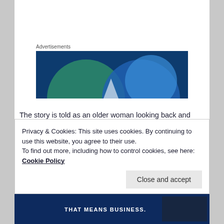Advertisements
[Figure (illustration): Advertisement banner with overlapping green and blue circular shapes on a dark blue background]
The story is told as an older woman looking back and telling her story, for the first time ever, to a student reporter. So, it begins in present day Oxford, but mostly takes place as a flashback to the war and the effect it had on two children who were among the ones evacuated from London to protect them from the coming Blitz.
Privacy & Cookies: This site uses cookies. By continuing to use this website, you agree to their use.
To find out more, including how to control cookies, see here: Cookie Policy
[Figure (screenshot): Bottom advertisement strip with dark blue background and white text reading THAT MEANS BUSINESS]